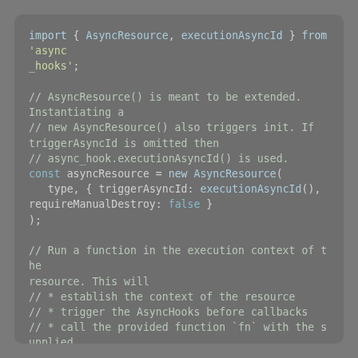[Figure (screenshot): A code block on a grey background showing JavaScript code using AsyncResource from async_hooks module. The code imports AsyncResource and executionAsyncId, creates a new AsyncResource instance with type, triggerAsyncId, and requireManualDestroy options, then calls runInAsyncScope with fn, thisArg, and ...args. Comments explain what each section does.]